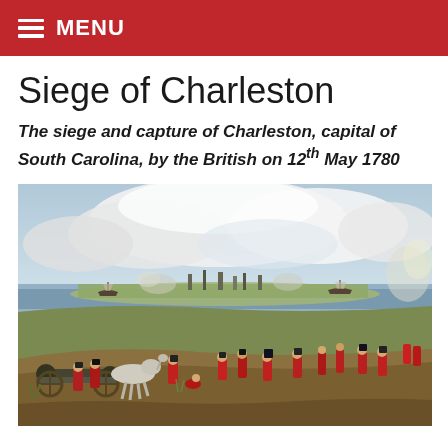MENU
Siege of Charleston
The siege and capture of Charleston, capital of South Carolina, by the British on 12th May 1780
[Figure (illustration): Historical painting of the Siege of Charleston showing British soldiers in red coats with artillery cannons in the foreground, a river and the city of Charleston in the distance, with battle smoke rising, and ships on the water. Soldiers on horseback and on foot are visible, with a dramatic cloudy sky above.]